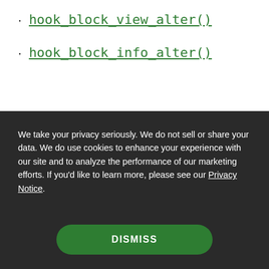hook_block_view_alter()
hook_block_info_alter()
We take your privacy seriously. We do not sell or share your data. We do use cookies to enhance your experience with our site and to analyze the performance of our marketing efforts. If you'd like to learn more, please see our Privacy Notice.
DISMISS